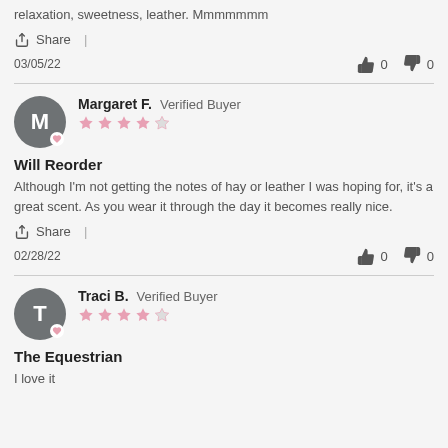relaxation, sweetness, leather. Mmmmmmm
Share
03/05/22  👍 0  👎 0
Margaret F. Verified Buyer  ★★★★☆  Will Reorder  Although I'm not getting the notes of hay or leather I was hoping for, it's a great scent. As you wear it through the day it becomes really nice.
Share
02/28/22  👍 0  👎 0
Traci B. Verified Buyer  ★★★★☆  The Equestrian  I love it